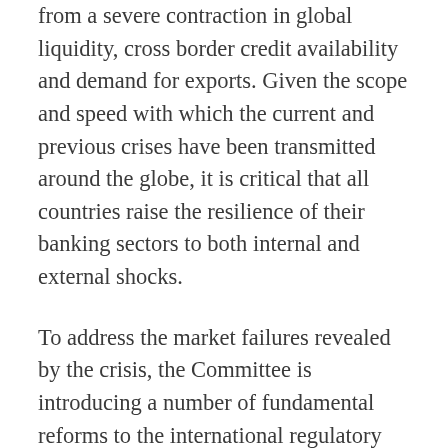from a severe contraction in global liquidity, cross border credit availability and demand for exports. Given the scope and speed with which the current and previous crises have been transmitted around the globe, it is critical that all countries raise the resilience of their banking sectors to both internal and external shocks.
To address the market failures revealed by the crisis, the Committee is introducing a number of fundamental reforms to the international regulatory framework. The reforms strengthen bank-level, or microprudential, regulation, which will help raise the resilience of individual banking institutions to periods of stress. The reforms also have a macroprudential focus, addressing system wide risks that can build up across the banking sector, as well as the procyclical